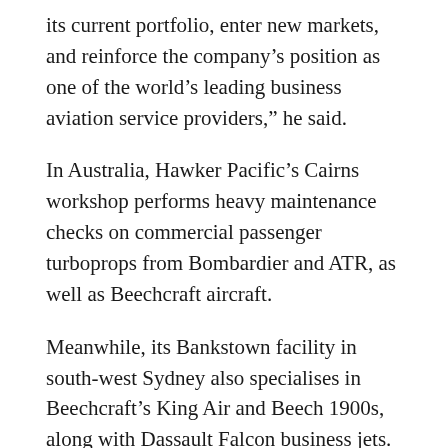its current portfolio, enter new markets, and reinforce the company’s position as one of the world’s leading business aviation service providers,” he said.
In Australia, Hawker Pacific’s Cairns workshop performs heavy maintenance checks on commercial passenger turboprops from Bombardier and ATR, as well as Beechcraft aircraft.
Meanwhile, its Bankstown facility in south-west Sydney also specialises in Beechcraft’s King Air and Beech 1900s, along with Dassault Falcon business jets.
The company also has workshops throughout Asia in key locations such as Kuala Lumpur, Manila, Shanghai and Singapore.